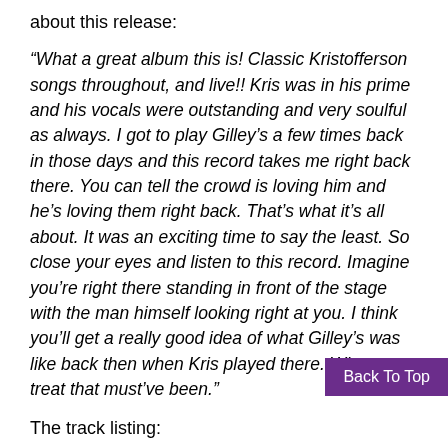about this release:
“What a great album this is! Classic Kristofferson songs throughout, and live!! Kris was in his prime and his vocals were outstanding and very soulful as always. I got to play Gilley’s a few times back in those days and this record takes me right back there. You can tell the crowd is loving him and he’s loving them right back. That’s what it’s all about. It was an exciting time to say the least. So close your eyes and listen to this record. Imagine you’re right there standing in front of the stage with the man himself looking right at you. I think you’ll get a really good idea of what Gilley’s was like back then when Kris played there. What a treat that must’ve been.”
The track listing:
1. Me And Bobby McGee